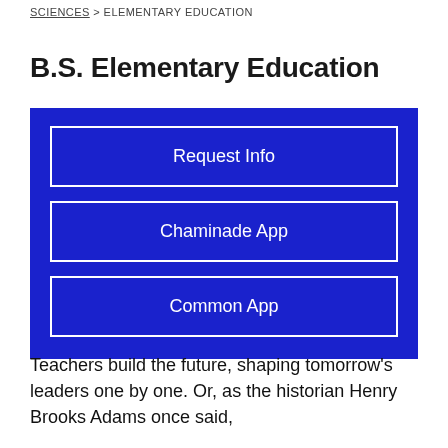SCIENCES > ELEMENTARY EDUCATION
B.S. Elementary Education
[Figure (other): Blue box with three buttons: Request Info, Chaminade App, Common App]
Teachers build the future, shaping tomorrow's leaders one by one. Or, as the historian Henry Brooks Adams once said,